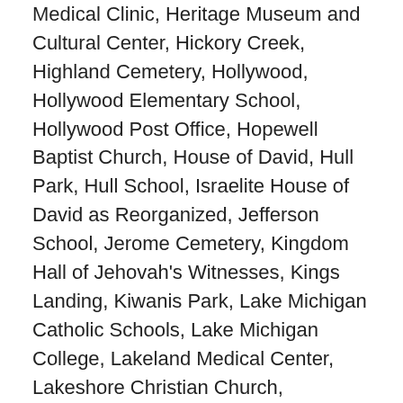Medical Clinic, Heritage Museum and Cultural Center, Hickory Creek, Highland Cemetery, Hollywood, Hollywood Elementary School, Hollywood Post Office, Hopewell Baptist Church, House of David, Hull Park, Hull School, Israelite House of David as Reorganized, Jefferson School, Jerome Cemetery, Kingdom Hall of Jehovah's Witnesses, Kings Landing, Kiwanis Park, Lake Michigan Catholic Schools, Lake Michigan College, Lakeland Medical Center, Lakeshore Christian Church, Lakeshore Church, Lakeshore High School, Lakeshore Junior High School, Lakeview School, LaSalle Landing, Lincoln School, Lincoln Township Police Department, Lions Beach, Maiden Lane Community Park, Marina Island, Martin Luther King Elementary School, McCord School, Meadow Streams Estate Mobile Home Park, Medic 1 Emergency Medical Services Central, Mercy